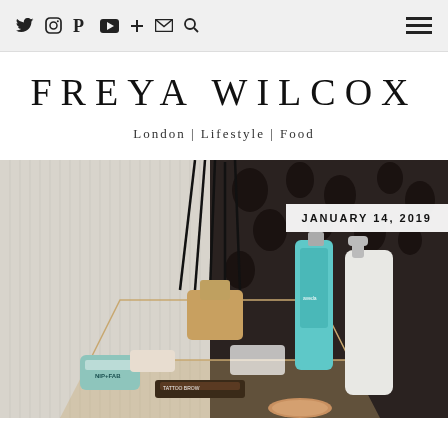Social icons: Twitter, Instagram, Pinterest, YouTube, +, Email, Search | Hamburger menu
FREYA WILCOX
London | Lifestyle | Food
[Figure (photo): Flat lay photo of beauty and lifestyle products including NIP+FAB, a teal bottle, white pump bottle, reed diffuser, and makeup items arranged on a glass geometric tray]
JANUARY 14, 2019